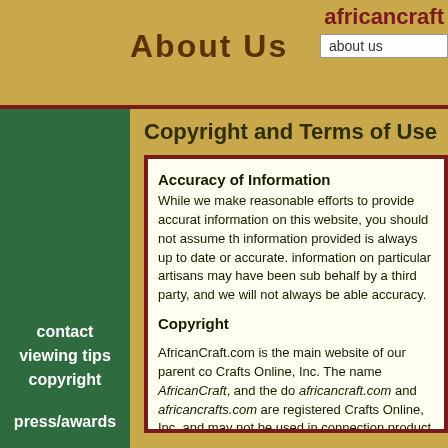africancraft.com
About Us
about us
Copyright and Terms of Use
contact
viewing tips
copyright
press/awards
Accuracy of Information
While we make reasonable efforts to provide accurate information on this website, you should not assume that the information provided is always up to date or accurate. The information on particular artisans may have been submitted on behalf by a third party, and we will not always be able to verify accuracy.
Copyright
AfricanCraft.com is the main website of our parent company African Crafts Online, Inc. The name AfricanCraft, and the domains africancraft.com and africancrafts.com are registered trademarks of African Crafts Online, Inc. and may not be used in connection with any product or service that is not African Crafts Online's.
Your use of the materials included on this site is for informational, educational and shopping purposes only. All materials and content, text, photographs, and graphic images, appearing on the AfricanCraft.com website is protected under United States and International copyright laws and conventions and are owned by AfricanCraft.com or the party credited as the provider.